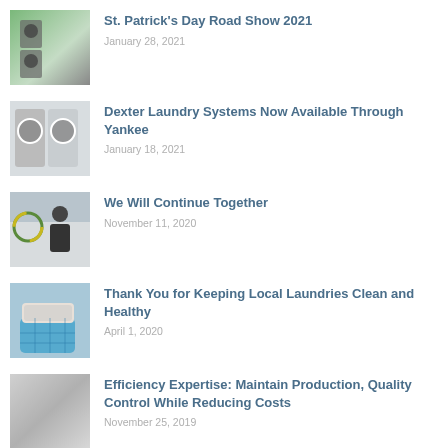[Figure (photo): Laundry machines stacked outdoors near green plants]
St. Patrick's Day Road Show 2021
January 28, 2021
[Figure (photo): Commercial laundry machines, white/silver, front-loading]
Dexter Laundry Systems Now Available Through Yankee
January 18, 2021
[Figure (photo): Man in dark jacket standing in front of vehicle with logo]
We Will Continue Together
November 11, 2020
[Figure (photo): Person holding a blue laundry basket with clothes]
Thank You for Keeping Local Laundries Clean and Healthy
April 1, 2020
[Figure (photo): Blurred/abstract gray image]
Efficiency Expertise: Maintain Production, Quality Control While Reducing Costs
November 25, 2019